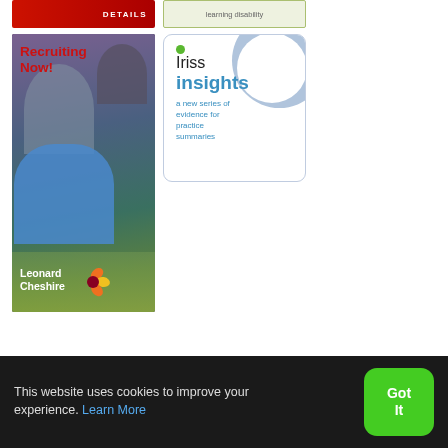[Figure (photo): Red banner with DETAILS text]
[Figure (photo): Green/cream banner with 'learning disability' text]
[Figure (photo): Leonard Cheshire recruiting advertisement showing two women, one in blue cardigan, with 'Recruiting Now!' text and Leonard Cheshire logo with flower]
[Figure (logo): Iriss insights promotional box - white box with blue border and circle, Iriss logo with green dot, text: 'insights - a new series of evidence for practice summaries']
This website uses cookies to improve your experience. Learn More
Got It